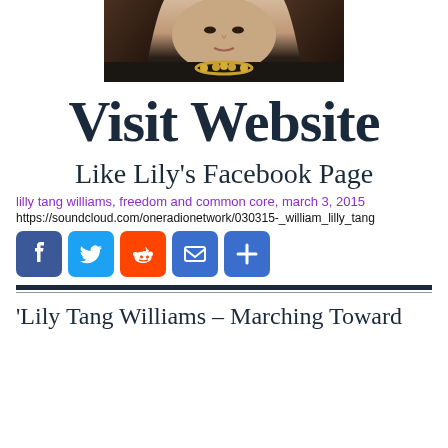[Figure (photo): Portrait photo of a woman with long dark hair, wearing a dark blazer and gold necklace, professional headshot style, cropped to show face and upper chest only.]
Visit Website
Like Lily’s Facebook Page
lilly tang williams, freedom and common core, march 3, 2015
https://soundcloud.com/oneradionetwork/030315-_william_lilly_tang
[Figure (infographic): Row of social media share buttons: Facebook (blue), Twitter (blue), Reddit (orange), Email (blue), More/Plus (blue)]
'Lily Tang Williams – Marching Toward